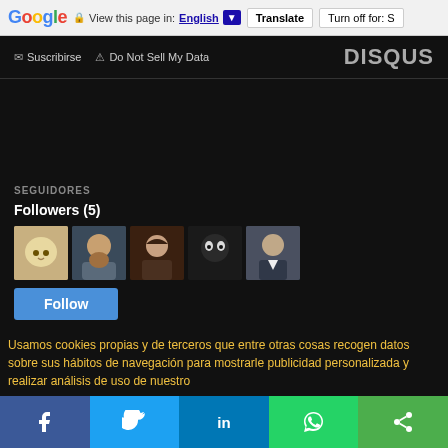Google  View this page in: English  Translate  Turn off for: S
✉ Suscribirse  ⚠ Do Not Sell My Data   DISQUS
SEGUIDORES
Followers (5)
[Figure (photo): Row of 5 follower avatar profile pictures]
Follow
Usamos cookies propias y de terceros que entre otras cosas recogen datos sobre sus hábitos de navegación para mostrarle publicidad personalizada y realizar análisis de uso de nuestro
[Figure (infographic): Social sharing bar with Facebook, Twitter, LinkedIn, WhatsApp, and share buttons]